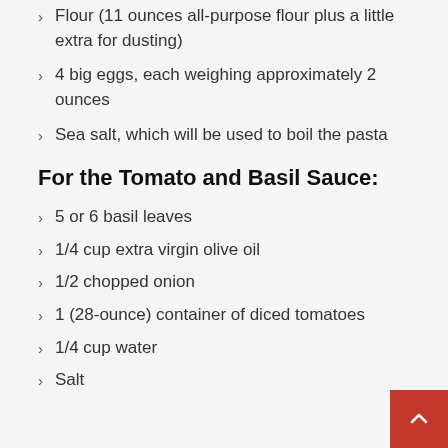Flour (11 ounces all-purpose flour plus a little extra for dusting)
4 big eggs, each weighing approximately 2 ounces
Sea salt, which will be used to boil the pasta
For the Tomato and Basil Sauce:
5 or 6 basil leaves
1/4 cup extra virgin olive oil
1/2 chopped onion
1 (28-ounce) container of diced tomatoes
1/4 cup water
Salt